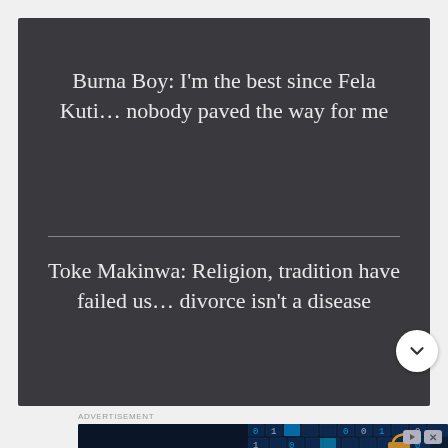Burna Boy: I'm the best since Fela Kuti… nobody paved the way for me
Toke Makinwa: Religion, tradition have failed us… divorce isn't a disease
ADVERTISEMENT
[Figure (infographic): Advertisement banner: Stop locking up value! Be a leader in data monetization. LEAPYEAR. GET THE HANDBOOK]